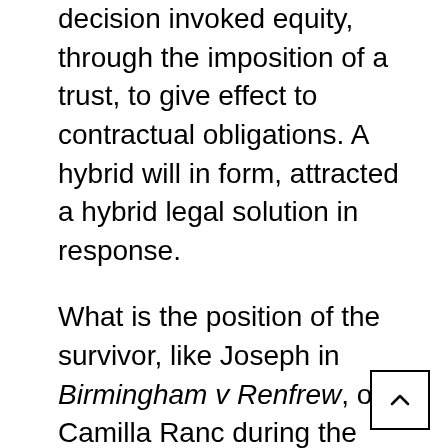decision invoked equity, through the imposition of a trust, to give effect to contractual obligations. A hybrid will in form, attracted a hybrid legal solution in response.

What is the position of the survivor, like Joseph in Birmingham v Renfrew, or Camilla Ranc during the remainder of his or her lifetime? In a case like Birmingham, where the survivor is left the whole estate, the purpose is often to enable the survivor during his or her life as surviving spouse to deal as